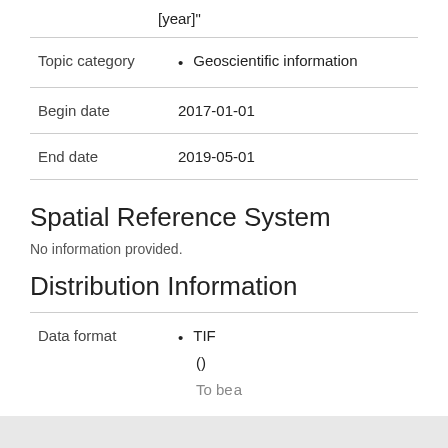[year]"
| Topic category | Geoscientific information |
| Begin date | 2017-01-01 |
| End date | 2019-05-01 |
Spatial Reference System
No information provided.
Distribution Information
| Data format | TIF
() |